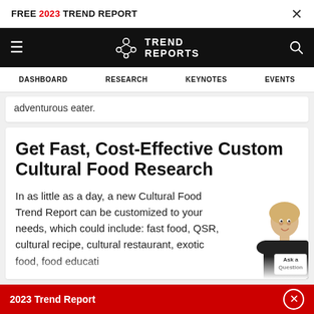FREE 2023 TREND REPORT  ×
[Figure (logo): Trend Reports logo with navigation bar on black background]
DASHBOARD  RESEARCH  KEYNOTES  EVENTS
adventurous eater.
Get Fast, Cost-Effective Custom Cultural Food Research
In as little as a day, a new Cultural Food Trend Report can be customized to your needs, which could include: fast food, QSR, cultural recipe, cultural restaurant, exotic food, food educati...
2023 Trend Report  ×